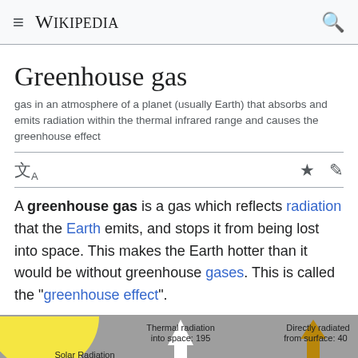Wikipedia
Greenhouse gas
gas in an atmosphere of a planet (usually Earth) that absorbs and emits radiation within the thermal infrared range and causes the greenhouse effect
A greenhouse gas is a gas which reflects radiation that the Earth emits, and stops it from being lost into space. This makes the Earth hotter than it would be without greenhouse gases. This is called the "greenhouse effect".
[Figure (infographic): Diagram showing greenhouse gas radiation flows: Solar Radiation absorbed by Earth 235 W/m², Thermal radiation into space: 195, Directly radiated from surface: 40, with arrows and Greenhouse gas layer label at bottom.]